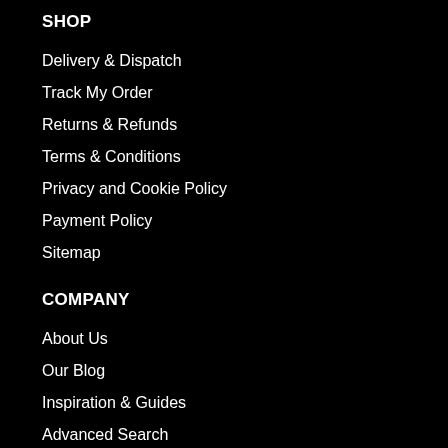SHOP
Delivery & Dispatch
Track My Order
Returns & Refunds
Terms & Conditions
Privacy and Cookie Policy
Payment Policy
Sitemap
COMPANY
About Us
Our Blog
Inspiration & Guides
Advanced Search